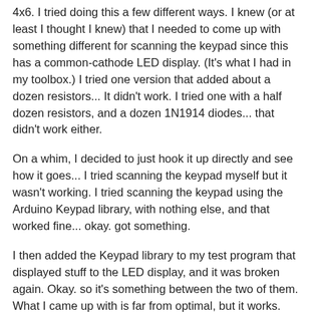4x6.  I tried doing this a few different ways. I knew (or at least I thought I knew) that I needed to come up with something different for scanning the keypad since this has a common-cathode LED display. (It's what I had in my toolbox.)  I tried one version that added about a dozen resistors... It didn't work.  I tried one with a half dozen resistors, and a dozen 1N1914 diodes... that didn't work either.
On a whim, I decided to just hook it up directly and see how it goes... I tried scanning the keypad myself but it wasn't working.  I tried scanning the keypad using the Arduino Keypad library, with nothing else, and that worked fine... okay.  got something.
I then added the Keypad library to my test program that displayed stuff to the LED display, and it was broken again.  Okay. so it's something between the two of them.  What I came up with is far from optimal, but it works. (The screen flickers visibly a tiny bit... which might also be due to the added 220 ohm resistors, making the display dimmer than before.)